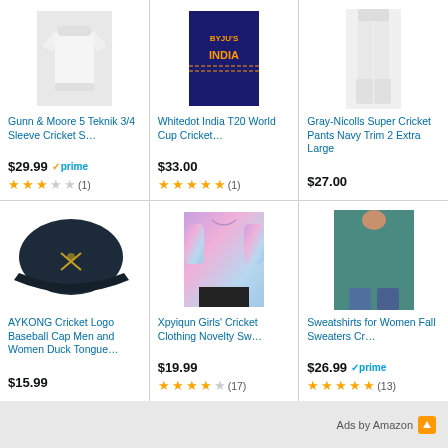[Figure (photo): White cricket shirt product image]
Gunn & Moore 5 Teknik 3/4 Sleeve Cricket S…
$29.99 prime
★★★☆☆ (1)
[Figure (photo): India T20 blue cricket jersey product image]
Whitedot India T20 World Cup Cricket…
$33.00
★★★★★ (1)
[Figure (photo): White cricket pants product image]
Gray-Nicolls Super Cricket Pants Navy Trim 2 Extra Large
$27.00
[Figure (photo): Navy blue baseball cap with cricket logo]
AYKONG Cricket Logo Baseball Cap Men and Women Duck Tongue…
$15.99
[Figure (photo): Pink tie-dye girls sweatshirt product image]
Xpyiqun Girls' Cricket Clothing Novelty Sw…
$19.99
★★★★☆ (17)
[Figure (photo): Teal women's sweatshirt product image]
Sweatshirts for Women Fall Sweaters Cr…
$26.99 prime
★★★★★ (13)
Ads by Amazon